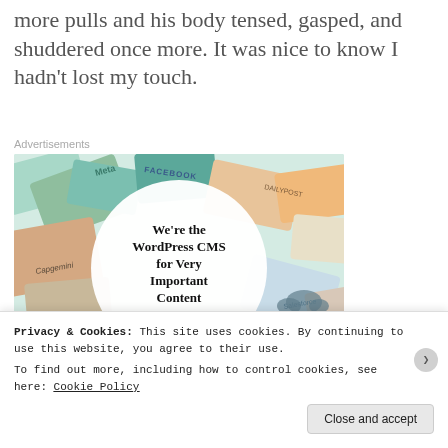more pulls and his body tensed, gasped, and shuddered once more. It was nice to know I hadn't lost my touch.
[Figure (illustration): WordPress VIP advertisement showing brand logos including Meta, Facebook, Capgemini, Salesforce around a central circle with text 'We're the WordPress CMS for Very Important Content' with WP VIP logo and 'Learn more' button]
Privacy & Cookies: This site uses cookies. By continuing to use this website, you agree to their use. To find out more, including how to control cookies, see here: Cookie Policy
Close and accept